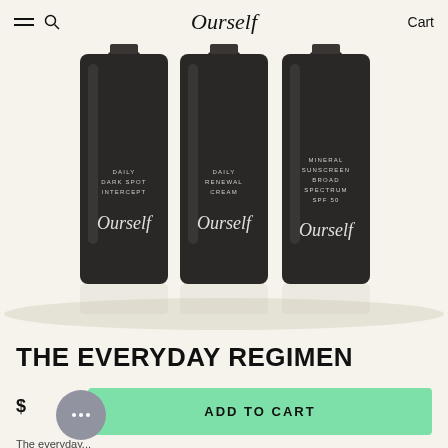Ourself  Cart
[Figure (photo): Three dark cylindrical skincare bottles labeled 'Ourself' side by side. Left bottle: DAILY DARK SPOT INTERCEPT, Center bottle: DAILY RENEWAL CREAM, Right bottle: MINERAL SUNSCREEN BROAD SPECTRUM SPF 50. All bottles are dark/black with white 'Ourself' script logo.]
THE EVERYDAY REGIMEN
$
ADD TO CART
The everyday...